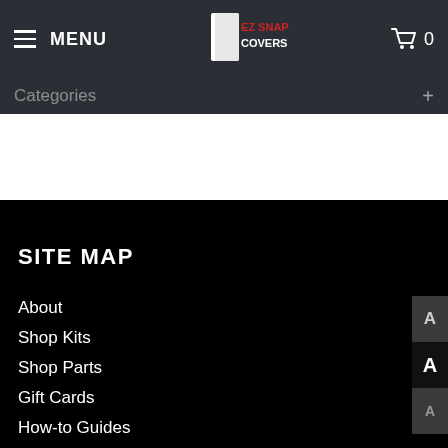MENU | EZ Snap Covers logo | 0
Categories +
SITE MAP
About
Shop Kits
Shop Parts
Gift Cards
How-to Guides
FAQs
Reviews
Contact